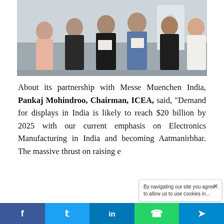[Figure (photo): Group photo of five people standing together indoors, two holding framed certificates. ICEA banner visible in background.]
About its partnership with Messe Muenchen India, Pankaj Mohindroo, Chairman, ICEA, said, “Demand for displays in India is likely to reach $20 billion by 2025 with our current emphasis on Electronics Manufacturing in India and becoming Aatmanirbhar. The massive thrust on raising e[...]
f  t  in  [WhatsApp]  [Telegram]